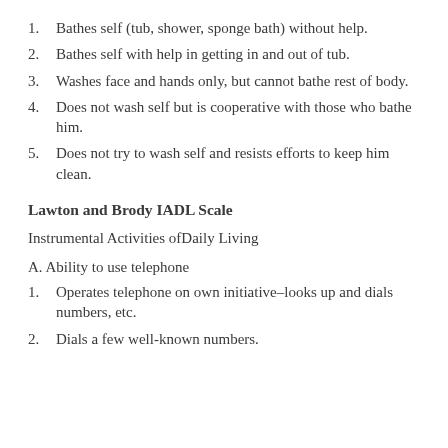1. Bathes self (tub, shower, sponge bath) without help.
2. Bathes self with help in getting in and out of tub.
3. Washes face and hands only, but cannot bathe rest of body.
4. Does not wash self but is cooperative with those who bathe him.
5. Does not try to wash self and resists efforts to keep him clean.
Lawton and Brody IADL Scale
Instrumental Activities ofDaily Living
A. Ability to use telephone
1. Operates telephone on own initiative–looks up and dials numbers, etc.
2. Dials a few well-known numbers.